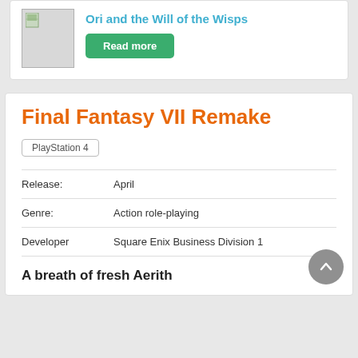Ori and the Will of the Wisps
Read more
Final Fantasy VII Remake
PlayStation 4
| Release: | April |
| Genre: | Action role-playing |
| Developer | Square Enix Business Division 1 |
A breath of fresh Aerith